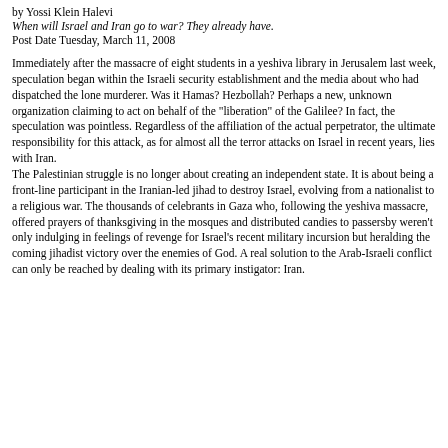by Yossi Klein Halevi
When will Israel and Iran go to war? They already have.
Post Date Tuesday, March 11, 2008
Immediately after the massacre of eight students in a yeshiva library in Jerusalem last week, speculation began within the Israeli security establishment and the media about who had dispatched the lone murderer. Was it Hamas? Hezbollah? Perhaps a new, unknown organization claiming to act on behalf of the "liberation" of the Galilee? In fact, the speculation was pointless. Regardless of the affiliation of the actual perpetrator, the ultimate responsibility for this attack, as for almost all the terror attacks on Israel in recent years, lies with Iran. The Palestinian struggle is no longer about creating an independent state. It is about being a front-line participant in the Iranian-led jihad to destroy Israel, evolving from a nationalist to a religious war. The thousands of celebrants in Gaza who, following the yeshiva massacre, offered prayers of thanksgiving in the mosques and distributed candies to passersby weren't only indulging in feelings of revenge for Israel's recent military incursion but heralding the coming jihadist victory over the enemies of God. A real solution to the Arab-Israeli conflict can only be reached by dealing with its primary instigator: Iran.